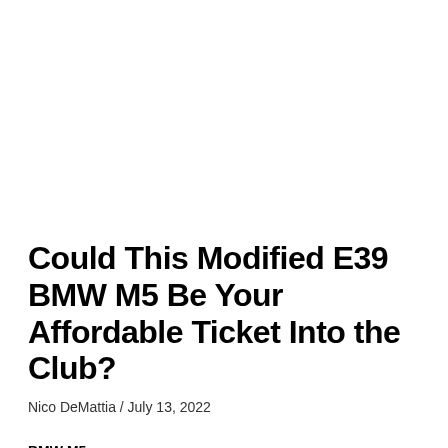Could This Modified E39 BMW M5 Be Your Affordable Ticket Into the Club?
Nico DeMattia / July 13, 2022
BMW M5